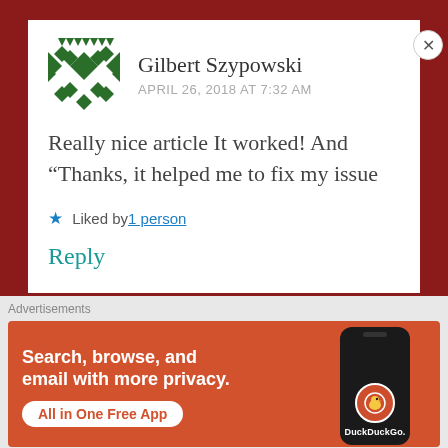Gilbert Szypowski
APRIL 26, 2018 AT 7:32 AM
Really nice article It worked! And “Thanks, it helped me to fix my issue
★ Liked by 1 person
Reply
Advertisements
[Figure (infographic): DuckDuckGo advertisement banner: orange background with text 'Search, browse, and email with more privacy. All in One Free App' and a smartphone image with DuckDuckGo logo]